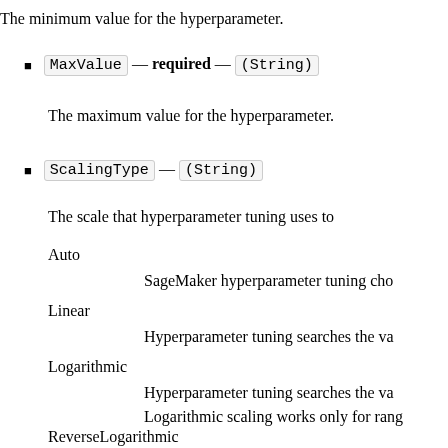The minimum value for the hyperparameter.
MaxValue — required — (String)
The maximum value for the hyperparameter.
ScalingType — (String)
The scale that hyperparameter tuning uses to
Auto
SageMaker hyperparameter tuning cho
Linear
Hyperparameter tuning searches the va
Logarithmic
Hyperparameter tuning searches the va
Logarithmic scaling works only for rang
ReverseLogarithmic
Hyperparameter tuning searches the va